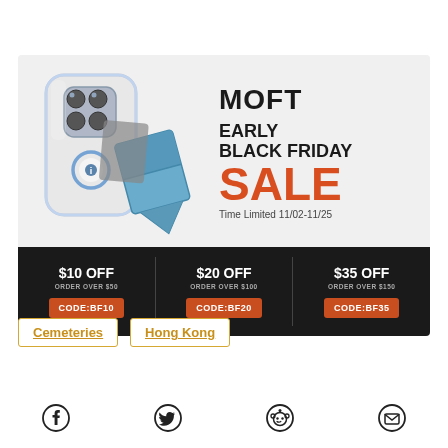[Figure (infographic): MOFT Early Black Friday Sale advertisement showing phone case and stand, with discount coupons: $10 OFF order over $50 (CODE:BF10), $20 OFF order over $100 (CODE:BF20), $35 OFF order over $150 (CODE:BF35). Time Limited 11/02-11/25.]
Cemeteries
Hong Kong
[Figure (logo): Facebook icon]
[Figure (logo): Twitter icon]
[Figure (logo): Reddit icon]
[Figure (logo): Email/envelope icon]